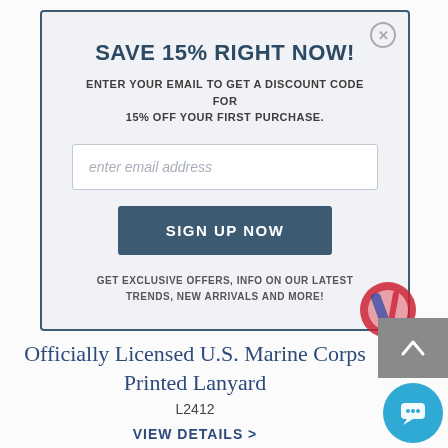SAVE 15% RIGHT NOW!
ENTER YOUR EMAIL TO GET A DISCOUNT CODE FOR 15% OFF YOUR FIRST PURCHASE.
enter email address
SIGN UP NOW
GET EXCLUSIVE OFFERS, INFO ON OUR LATEST TRENDS, NEW ARRIVALS AND MORE!
Officially Licensed U.S. Marine Corps Printed Lanyard
L2412
VIEW DETAILS >